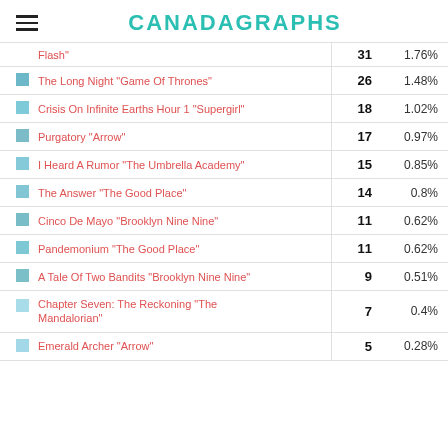CANADAGRAPHS
|  | Episode | Count | Percent |
| --- | --- | --- | --- |
|  | Flash" | 31 | 1.76% |
|  | The Long Night "Game Of Thrones" | 26 | 1.48% |
|  | Crisis On Infinite Earths Hour 1 "Supergirl" | 18 | 1.02% |
|  | Purgatory "Arrow" | 17 | 0.97% |
|  | I Heard A Rumor "The Umbrella Academy" | 15 | 0.85% |
|  | The Answer "The Good Place" | 14 | 0.8% |
|  | Cinco De Mayo "Brooklyn Nine Nine" | 11 | 0.62% |
|  | Pandemonium "The Good Place" | 11 | 0.62% |
|  | A Tale Of Two Bandits "Brooklyn Nine Nine" | 9 | 0.51% |
|  | Chapter Seven: The Reckoning "The Mandalorian" | 7 | 0.4% |
|  | Emerald Archer "Arrow" | 5 | 0.28% |